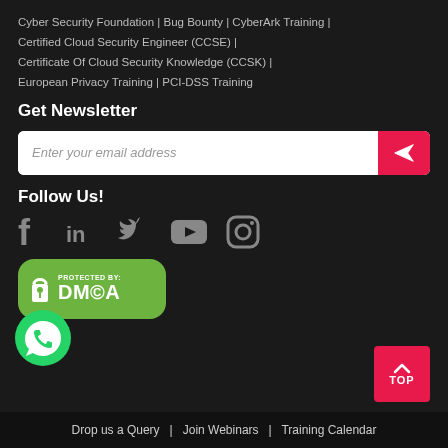Cyber Security Foundation | Bug Bounty | CyberArk Training | Certified Cloud Security Engineer (CCSE) | Certificate Of Cloud Security Knowledge (CCSK) | European Privacy Training | PCI-DSS Training
Get Newsletter
[Figure (screenshot): Newsletter email input box with placeholder 'Enter your email address' and a red send button with paper plane icon]
Follow Us!
[Figure (illustration): Social media icons: Facebook, LinkedIn, Twitter, YouTube, Instagram in grey]
[Figure (logo): DMCA Protected By badge in green with padlock icon and DMCA text]
[Figure (logo): WhatsApp icon (green circle with phone handset)]
[Figure (other): Red TOP button with upward caret arrow]
Drop us a Query  |  Join Webinars  |  Training Calendar